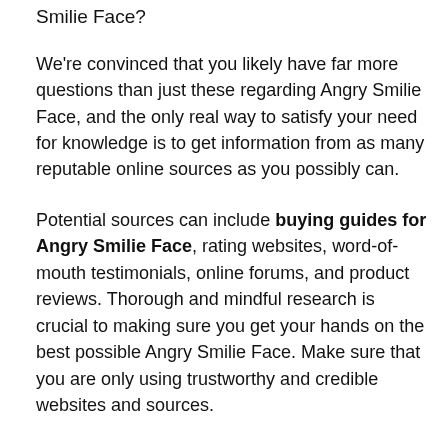Smilie Face?
We're convinced that you likely have far more questions than just these regarding Angry Smilie Face, and the only real way to satisfy your need for knowledge is to get information from as many reputable online sources as you possibly can.
Potential sources can include buying guides for Angry Smilie Face, rating websites, word-of-mouth testimonials, online forums, and product reviews. Thorough and mindful research is crucial to making sure you get your hands on the best possible Angry Smilie Face. Make sure that you are only using trustworthy and credible websites and sources.
We provide an Angry Smilie Face buying guide, and the information is totally objective and authentic. We employ both AI and big data in proofreading the collected